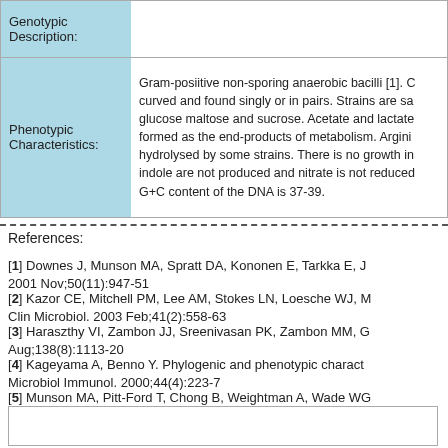|  |  |
| --- | --- |
| Genotypic Description: |  |
| Phenotypic Characteristics: | Gram-posiitive non-sporing anaerobic bacilli [1]. curved and found singly or in pairs. Strains are sa glucose maltose and sucrose. Acetate and lactate formed as the end-products of metabolism. Argini hydrolysed by some strains. There is no growth i indole are not produced and nitrate is not reduce G+C content of the DNA is 37-39. |
References:
[1] Downes J, Munson MA, Spratt DA, Kononen E, Tarkka E, J 2001 Nov;50(11):947-51
[2] Kazor CE, Mitchell PM, Lee AM, Stokes LN, Loesche WJ, Clin Microbiol. 2003 Feb;41(2):558-63
[3] Haraszthy VI, Zambon JJ, Sreenivasan PK, Zambon MM, Aug;138(8):1113-20
[4] Kageyama A, Benno Y. Phylogenic and phenotypic charact Microbiol Immunol. 2000;44(4):223-7
[5] Munson MA, Pitt-Ford T, Chong B, Weightman A, Wade W